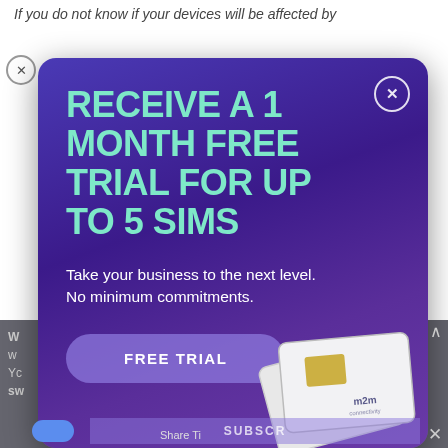If you do not know if your devices will be affected by
[Figure (screenshot): Modal popup advertisement with purple gradient background. Large teal/mint bold headline reads 'RECEIVE A 1 MONTH FREE TRIAL FOR UP TO 5 SIMS'. Subtext: 'Take your business to the next level. No minimum commitments.' A rounded 'FREE TRIAL' button in muted purple. Close (X) button top-right. SIM cards image bottom-right showing m2m branded SIM cards.]
RECEIVE A 1 MONTH FREE TRIAL FOR UP TO 5 SIMS
Take your business to the next level. No minimum commitments.
FREE TRIAL
SUBSCR
Share Ti